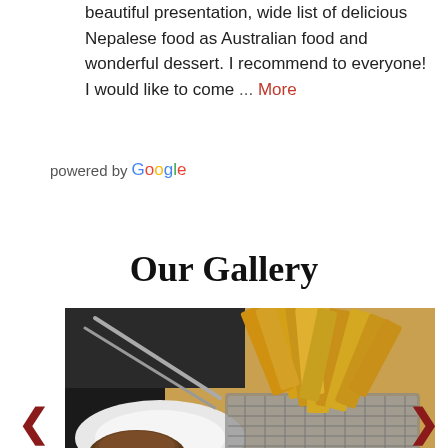beautiful presentation, wide list of delicious Nepalese food as Australian food and wonderful dessert. I recommend to everyone! I would like to come ... More
powered by Google
Our Gallery
[Figure (photo): Photo of french fries in a metal basket with a dipping sauce on the side, served on a white plate]